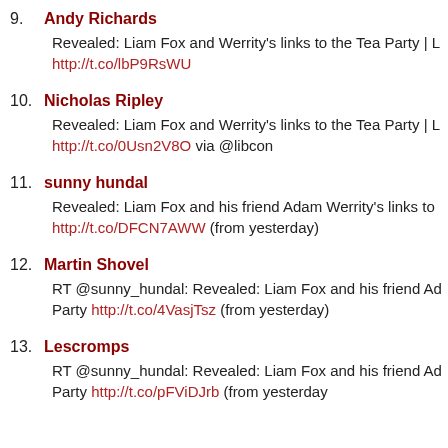9. Andy Richards
Revealed: Liam Fox and Werrity's links to the Tea Party | L http://t.co/lbP9RsWU
10. Nicholas Ripley
Revealed: Liam Fox and Werrity's links to the Tea Party | L http://t.co/0Usn2V8O via @libcon
11. sunny hundal
Revealed: Liam Fox and his friend Adam Werrity's links to http://t.co/DFCN7AWW (from yesterday)
12. Martin Shovel
RT @sunny_hundal: Revealed: Liam Fox and his friend Ad Party http://t.co/4VasjTsz (from yesterday)
13. Lescromps
RT @sunny_hundal: Revealed: Liam Fox and his friend Ad Party http://t.co/pFViDJrb (from yesterday